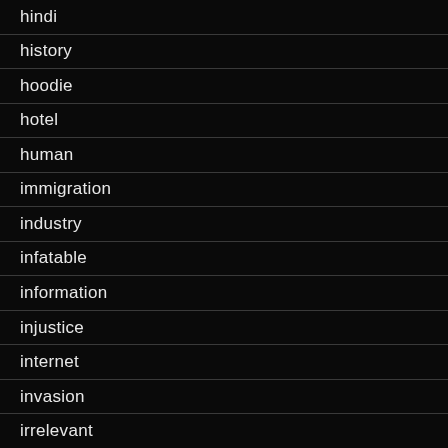hindi
history
hoodie
hotel
human
immigration
industry
infatable
information
injustice
internet
invasion
irrelevant